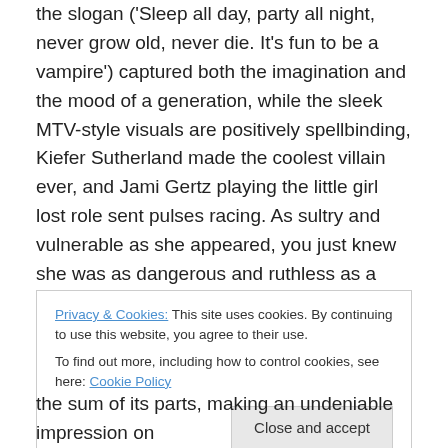the slogan ('Sleep all day, party all night, never grow old, never die. It's fun to be a vampire') captured both the imagination and the mood of a generation, while the sleek MTV-style visuals are positively spellbinding, Kiefer Sutherland made the coolest villain ever, and Jami Gertz playing the little girl lost role sent pulses racing. As sultry and vulnerable as she appeared, you just knew she was as dangerous and ruthless as a coiled cobra. The haunting soundtrack, an essential component of any 80's movie, was also a contributing factor. Even the dog Nanook deserves special praise for several show-stealing scenes.
Privacy & Cookies: This site uses cookies. By continuing to use this website, you agree to their use. To find out more, including how to control cookies, see here: Cookie Policy
Close and accept
the sum of its parts, making an undeniable impression on